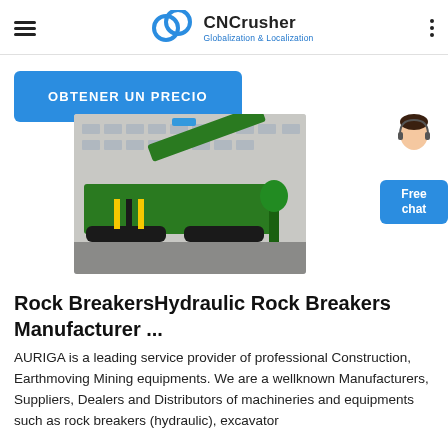CNCrusher Globalization & Localization
OBTENER UN PRECIO
[Figure (photo): Large green mobile rock crushing/screening machine parked in front of an industrial building. The machine is tracked and has a complex conveyor and screening system.]
[Figure (photo): Customer service representative avatar next to a Free chat button widget]
Rock BreakersHydraulic Rock Breakers Manufacturer ...
AURIGA is a leading service provider of professional Construction, Earthmoving Mining equipments. We are a wellknown Manufacturers, Suppliers, Dealers and Distributors of machineries and equipments such as rock breakers (hydraulic), excavator